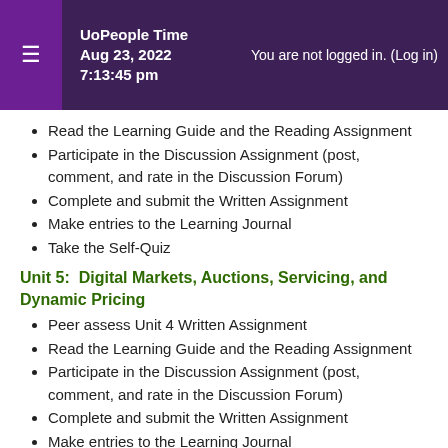UoPeople Time Aug 23, 2022 7:13:45 pm You are not logged in. (Log in)
Read the Learning Guide and the Reading Assignment
Participate in the Discussion Assignment (post, comment, and rate in the Discussion Forum)
Complete and submit the Written Assignment
Make entries to the Learning Journal
Take the Self-Quiz
Unit 5:  Digital Markets, Auctions, Servicing, and Dynamic Pricing
Peer assess Unit 4 Written Assignment
Read the Learning Guide and the Reading Assignment
Participate in the Discussion Assignment (post, comment, and rate in the Discussion Forum)
Complete and submit the Written Assignment
Make entries to the Learning Journal
Take the Self-Quiz